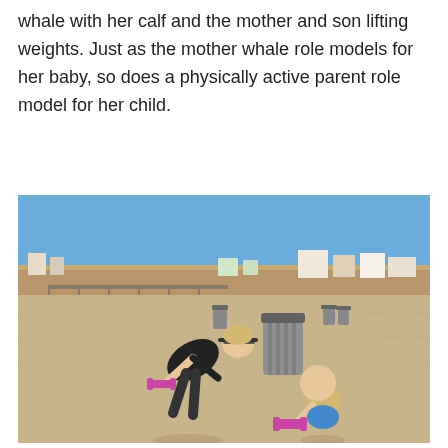whale with her calf and the mother and son lifting weights. Just as the mother whale role models for her baby, so does a physically active parent role model for her child.
[Figure (photo): A woman in a black sleeveless top, shorts, and a visor exercising on a sandy beach, leaning forward holding pink dumbbells, while a young toddler beside her also holds pink dumbbells. In the background is a coastal town with a pier, buildings, and a clear blue sky. A trash can is visible in the mid-ground.]